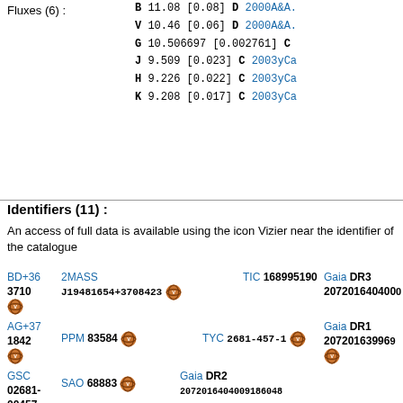Fluxes (6) :
B 11.08 [0.08] D 2000A&A.
V 10.46 [0.06] D 2000A&A.
G 10.506697 [0.002761] C
J 9.509 [0.023] C 2003yCa
H 9.226 [0.022] C 2003yCa
K 9.208 [0.017] C 2003yCa
Identifiers (11) :
An access of full data is available using the icon Vizier near the identifier of the catalogue
BD+36 3710
AG+37 1842
GSC 02681-00457
2MASS J19481654+3708423
PPM 83584
SAO 68883
TIC 168995190
TYC 2681-457-1
Gaia DR3 2072016404009...
Gaia DR1 2072016399696...
Gaia DR2 2072016404009186048